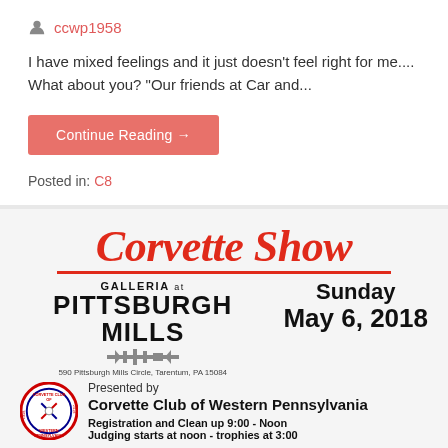ccwp1958
I have mixed feelings and it just doesn’t feel right for me.... What about you? “Our friends at Car and...
Continue Reading →
Posted in: C8
[Figure (infographic): Corvette Show flyer: GALLERIA at PITTSBURGH MILLS, 590 Pittsburgh Mills Circle, Tarentum, PA 15084. Sunday May 6, 2018. Presented by Corvette Club of Western Pennsylvania. Registration and Clean up 9:00 - Noon. Judging starts at noon - trophies at 3:00.]